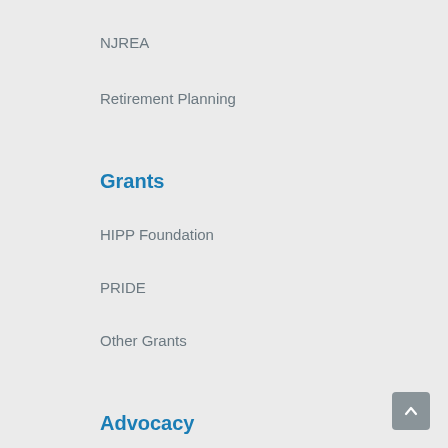NJREA
Retirement Planning
Grants
HIPP Foundation
PRIDE
Other Grants
Advocacy
Action Center
Pensions & Health Benefits
High Stakes Testing
Health & Safety
Evaluation